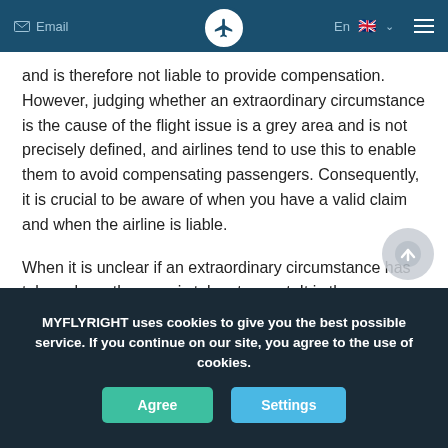Email | En | [menu]
and is therefore not liable to provide compensation. However, judging whether an extraordinary circumstance is the cause of the flight issue is a grey area and is not precisely defined, and airlines tend to use this to enable them to avoid compensating passengers. Consequently, it is crucial to be aware of when you have a valid claim and when the airline is liable.
When it is unclear if an extraordinary circumstance has taken place, the case is taken to court. It is then assessed whether the airline took all preventative measures possible to prevent the flight disruption
MYFLYRIGHT uses cookies to give you the best possible service. If you continue on our site, you agree to the use of cookies.